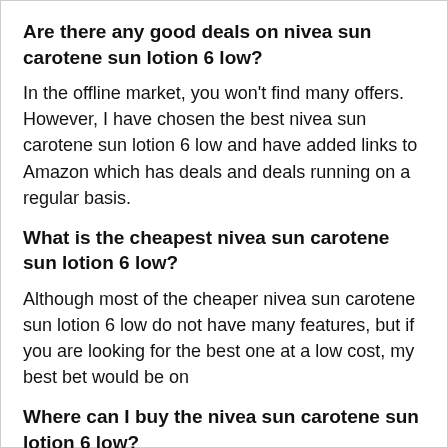Are there any good deals on nivea sun carotene sun lotion 6 low?
In the offline market, you won't find many offers. However, I have chosen the best nivea sun carotene sun lotion 6 low and have added links to Amazon which has deals and deals running on a regular basis.
What is the cheapest nivea sun carotene sun lotion 6 low?
Although most of the cheaper nivea sun carotene sun lotion 6 low do not have many features, but if you are looking for the best one at a low cost, my best bet would be on
Where can I buy the nivea sun carotene sun lotion 6 low?
There are several places where you can buy it, but in my opinion, when it comes to the online marketplace, I wouldn't recommend anything other than Amazon. It's because their